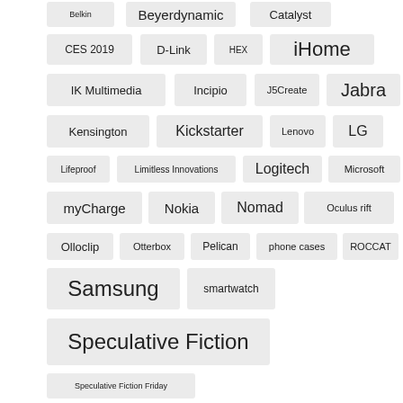Belkin
Beyerdynamic
Catalyst
CES 2019
D-Link
HEX
iHome
IK Multimedia
Incipio
J5Create
Jabra
Kensington
Kickstarter
Lenovo
LG
Lifeproof
Limitless Innovations
Logitech
Microsoft
myCharge
Nokia
Nomad
Oculus rift
Olloclip
Otterbox
Pelican
phone cases
ROCCAT
Samsung
smartwatch
Speculative Fiction
Speculative Fiction Friday